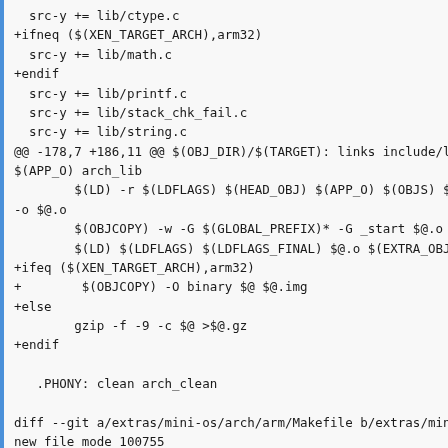src-y += lib/ctype.c
+ifneq ($(XEN_TARGET_ARCH),arm32)
  src-y += lib/math.c
+endif
  src-y += lib/printf.c
  src-y += lib/stack_chk_fail.c
  src-y += lib/string.c
@@ -178,7 +186,11 @@ $(OBJ_DIR)/$(TARGET): links include/lis
$(APP_O) arch_lib
        $(LD) -r $(LDFLAGS) $(HEAD_OBJ) $(APP_O) $(OBJS) $(L
-o $@.o
        $(OBJCOPY) -w -G $(GLOBAL_PREFIX)* -G _start $@.o $@
        $(LD) $(LDFLAGS) $(LDFLAGS_FINAL) $@.o $(EXTRA_OBJS)
+ifeq ($(XEN_TARGET_ARCH),arm32)
+        $(OBJCOPY) -O binary $@ $@.img
+else
        gzip -f -9 -c $@ >$@.gz
+endif

   .PHONY: clean arch_clean

diff --git a/extras/mini-os/arch/arm/Makefile b/extras/mini-
new file mode 100755
index 0000000..d8ecc88
    /dev/null